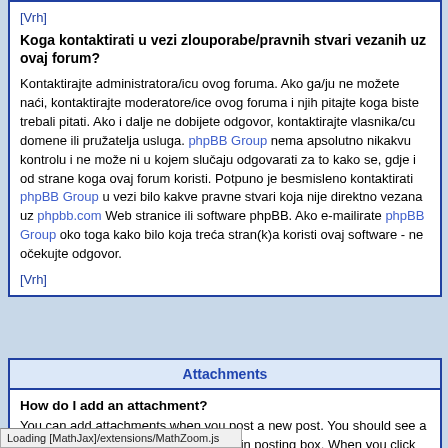[Vrh]
Koga kontaktirati u vezi zlouporabe/pravnih stvari vezanih uz ovaj forum?
Kontaktirajte administratora/icu ovog foruma. Ako ga/ju ne možete naći, kontaktirajte moderatore/ice ovog foruma i njih pitajte koga biste trebali pitati. Ako i dalje ne dobijete odgovor, kontaktirajte vlasnika/cu domene ili pružatelja usluga. phpBB Group nema apsolutno nikakvu kontrolu i ne može ni u kojem slučaju odgovarati za to kako se, gdje i od strane koga ovaj forum koristi. Potpuno je besmisleno kontaktirati phpBB Group u vezi bilo kakve pravne stvari koja nije direktno vezana uz phpbb.com Web stranice ili software phpBB. Ako e-mailirate phpBB Group oko toga kako bilo koja treća stran(k)a koristi ovaj software - ne očekujte odgovor.
[Vrh]
Attachments
How do I add an attachment?
You can add attachments when you post a new post. You should see a Add an Attachment form below the main posting box. When you click the Browse... button the standard Open dialogue window for your computer will open. Browse to the file you want to attach, select it and click OK, Open or whatever the equivalent is and/or the correct procedure for your computer. If your attachment is not added, please contact the File, Save or find it in the
Loading [MathJax]/extensions/MathZoom.js